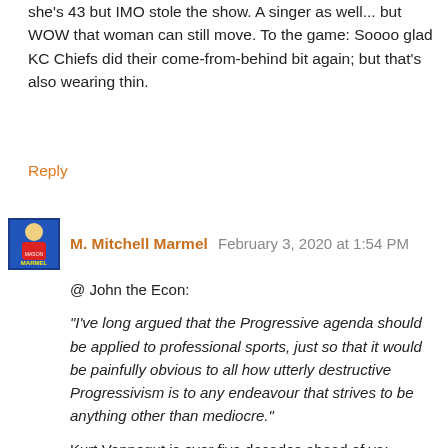she's 43 but IMO stole the show. A singer as well... but WOW that woman can still move. To the game: Soooo glad KC Chiefs did their come-from-behind bit again; but that's also wearing thin.
Reply
M. Mitchell Marmel  February 3, 2020 at 1:54 PM
@ John the Econ:
"I've long argued that the Progressive agenda should be applied to professional sports, just so that it would be painfully obvious to all how utterly destructive Progressivism is to any endeavour that strives to be anything other than mediocre."
Kurt Vonnegut is over five decades ahead of ya:
https://en.wikipedia.org/wiki/Harrison_Bergeron
;-)
Reply